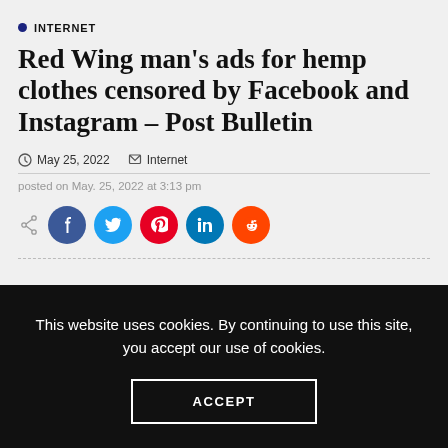INTERNET
Red Wing man's ads for hemp clothes censored by Facebook and Instagram – Post Bulletin
May 25, 2022   Internet
posted on May. 25, 2022 at 3:13 pm
[Figure (infographic): Share buttons row: share icon, Facebook, Twitter, Pinterest, LinkedIn, Reddit social media circular buttons]
This website uses cookies. By continuing to use this site, you accept our use of cookies.
ACCEPT